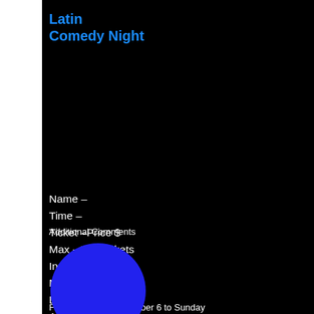Latin Comedy Night
From Saturday November 6 to Sunday

November 21, 2021
Name –
Time –
Ticket –Price $
Max - 100 Tickets
Includes –
Music – N/A
Dress – Casual
Address –
Location –
Additional Comments
[Figure (illustration): A blue filled circle (button graphic)]
buy ticket